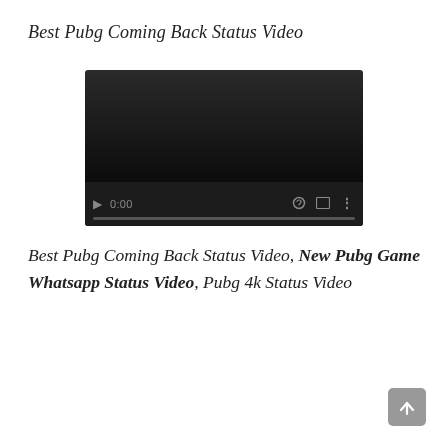Best Pubg Coming Back Status Video
[Figure (screenshot): Video player showing a dark/black video with playback controls: play button, time display 0:00, volume icon, fullscreen icon, more options icon, and a progress bar at the bottom.]
Best Pubg Coming Back Status Video, New Pubg Game Whatsapp Status Video, Pubg 4k Status Video